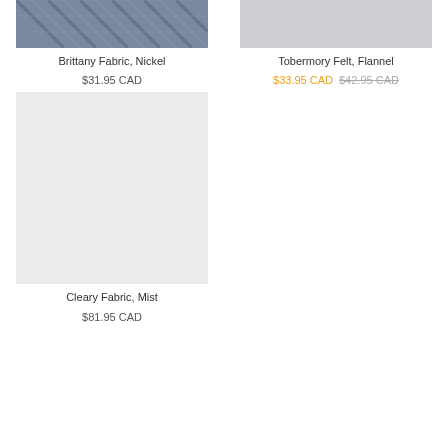[Figure (photo): Close-up texture of Brittany Fabric in Nickel color, showing diagonal weave pattern in dark blue-grey tones]
Brittany Fabric, Nickel
$31.95 CAD
[Figure (photo): Close-up texture of Tobermory Felt in Flannel color, showing soft grey fabric surface]
Tobermory Felt, Flannel
$33.95 CAD $42.95 CAD
[Figure (photo): Solid light grey swatch for Cleary Fabric in Mist color]
Cleary Fabric, Mist
$81.95 CAD